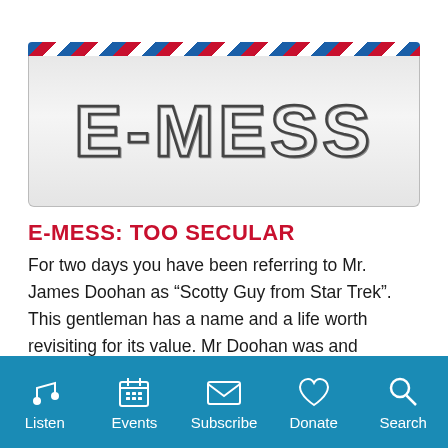[Figure (illustration): Envelope graphic with diagonal red/blue/white stripe border at top and stylized 'E-MESS' text in outline font on light grey background]
E-MESS: TOO SECULAR
For two days you have been referring to Mr. James Doohan as “Scotty Guy from Star Trek”. This gentleman has a name and a life worth revisiting for its value. Mr Doohan was and remains a very influential person in this world. Please read about Mr. Doohan, as he has a long history of inspiration and effect on people. Your show has moved from a very
Listen  Events  Subscribe  Donate  Search